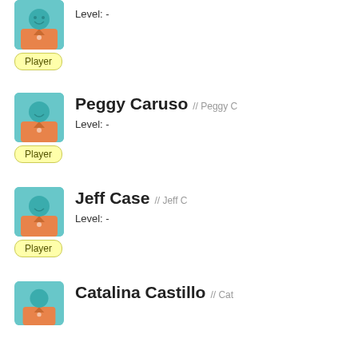[Figure (illustration): Player avatar: teal/turquoise figure with orange shirt on light blue background, partially visible at top]
Level: -
Player
[Figure (illustration): Player avatar: teal face silhouette with orange shirt on light blue background]
Peggy Caruso // Peggy C
Level: -
Player
[Figure (illustration): Player avatar: teal face silhouette with orange shirt on light blue background]
Jeff Case // Jeff C
Level: -
Player
[Figure (illustration): Player avatar: teal face silhouette with orange shirt on light blue background, partially visible at bottom]
Catalina Castillo // Cat